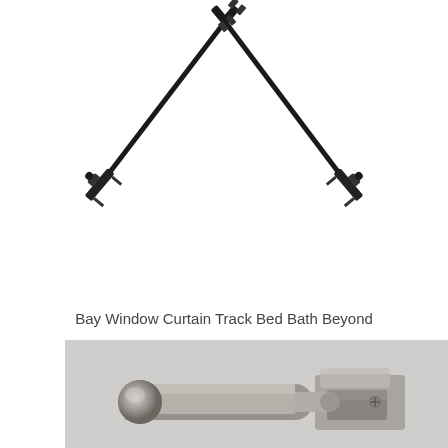[Figure (photo): Two black curtain rods with angled ends, arranged in a V or bay window configuration against a white background, showing how bay window curtain tracks are configured.]
Bay Window Curtain Track Bed Bath Beyond
[Figure (photo): Close-up photo of metal curtain rod hardware - showing a brushed nickel/silver finial end cap on the left and a wall bracket/connector on the right, both in brushed steel finish, against a light grey textured background.]